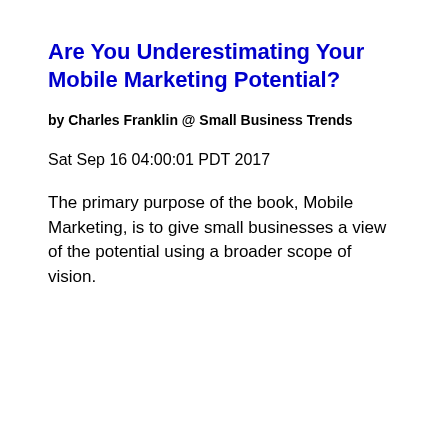Are You Underestimating Your Mobile Marketing Potential?
by Charles Franklin @ Small Business Trends
Sat Sep 16 04:00:01 PDT 2017
The primary purpose of the book, Mobile Marketing, is to give small businesses a view of the potential using a broader scope of vision.